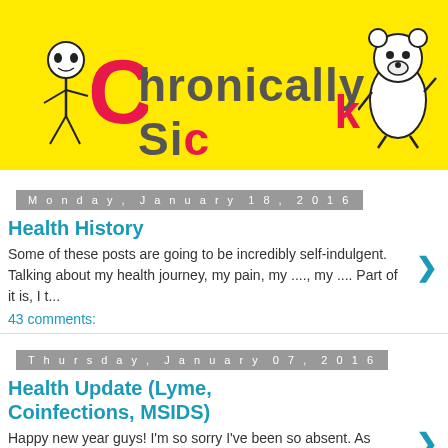[Figure (illustration): Banner with yellow background showing 'Chronically Sick' blog logo with cartoon character on left and bear on right]
Monday, January 18, 2016
Health History
Some of these posts are going to be incredibly self-indulgent. Talking about my health journey, my pain, my ...., my .... Part of it is, I t...
43 comments:
Thursday, January 07, 2016
Health Update (Lyme, Coinfections, MSIDS)
Happy new year guys! I'm so sorry I've been so absent. As